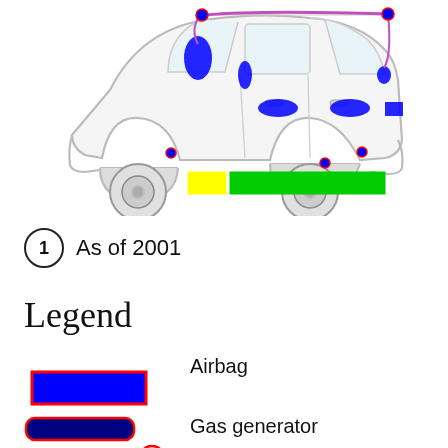[Figure (engineering-diagram): Side-view diagram of a compact car (Honda Jazz/Fit style) showing airbag and gas generator locations marked with colored overlays: blue ellipses/rectangles for airbags at door panels and pillars, a yellow rectangle and a large green rectangle under the car body indicating battery/component locations, and red-outlined markers for gas generators.]
1  As of 2001
Legend
Airbag
[Figure (other): Blue filled rectangle with red border — legend swatch for Airbag]
Gas generator
[Figure (other): Dark blue rounded rectangle with red border, and a circle with red border and blue fill — legend swatches for Gas generator]